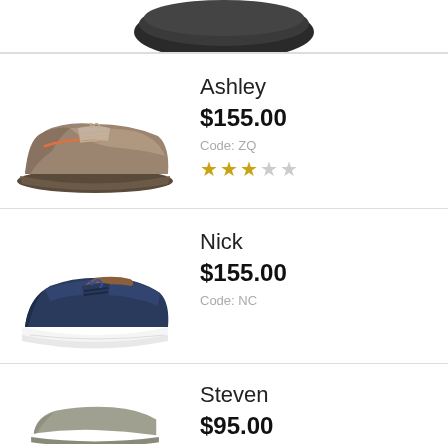[Figure (photo): Partial view of a shoe at top of page]
[Figure (photo): Brown lace-up sneaker - Ashley]
Ashley
$155.00
Code: ZQ
3 out of 5 stars rating
[Figure (photo): Navy blue lace-up sneaker - Nick]
Nick
$155.00
Code: NC
[Figure (photo): Grey/olive casual shoe - Steven, partially visible]
Steven
$95.00